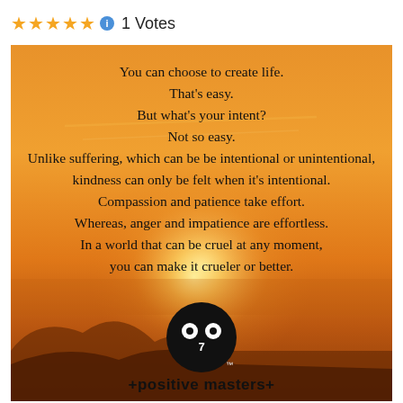[Figure (other): Five gold stars rating with info icon and '1 Votes' text on white background]
[Figure (illustration): Orange sunset sky background with motivational quote text and Positive Masters logo at the bottom. Quote reads: 'You can choose to create life. That's easy. But what's your intent? Not so easy. Unlike suffering, which can be be intentional or unintentional, kindness can only be felt when it's intentional. Compassion and patience take effort. Whereas, anger and impatience are effortless. In a world that can be cruel at any moment, you can make it crueler or better.' Logo shows black circle with white eyes and '+positive masters+' text.]